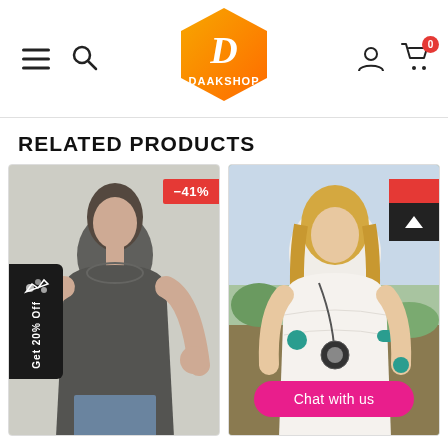[Figure (screenshot): Daakshop e-commerce website header with hamburger menu, search icon, hexagonal orange-yellow logo with letter D and DAAKSHOP text, user icon, and cart icon with badge showing 0]
RELATED PRODUCTS
[Figure (photo): Product card showing a woman wearing a black sleeveless tank top, with a -41% discount badge in red]
[Figure (photo): Product card showing a woman wearing a white lace blouse with turquoise jewelry and a flower pendant necklace, with a red discount badge and back-to-top arrow button, and a pink Chat with us button]